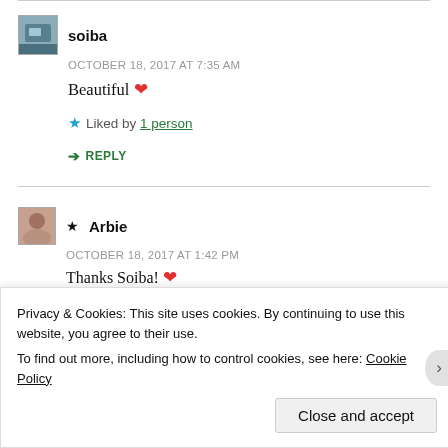soiba — OCTOBER 18, 2017 AT 7:35 AM
Beautiful ❤
★ Liked by 1 person
↳ REPLY
★ Arbie — OCTOBER 18, 2017 AT 1:42 PM
Thanks Soiba! ❤
Privacy & Cookies: This site uses cookies. By continuing to use this website, you agree to their use. To find out more, including how to control cookies, see here: Cookie Policy
Close and accept